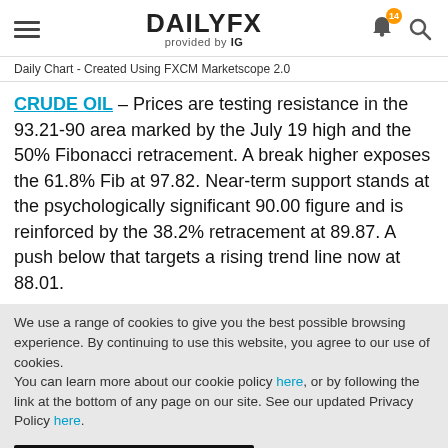DAILYFX provided by IG
Daily Chart - Created Using FXCM Marketscope 2.0
CRUDE OIL – Prices are testing resistance in the 93.21-90 area marked by the July 19 high and the 50% Fibonacci retracement. A break higher exposes the 61.8% Fib at 97.82. Near-term support stands at the psychologically significant 90.00 figure and is reinforced by the 38.2% retracement at 89.87. A push below that targets a rising trend line now at 88.01.
We use a range of cookies to give you the best possible browsing experience. By continuing to use this website, you agree to our use of cookies.
You can learn more about our cookie policy here, or by following the link at the bottom of any page on our site. See our updated Privacy Policy here.
Accept